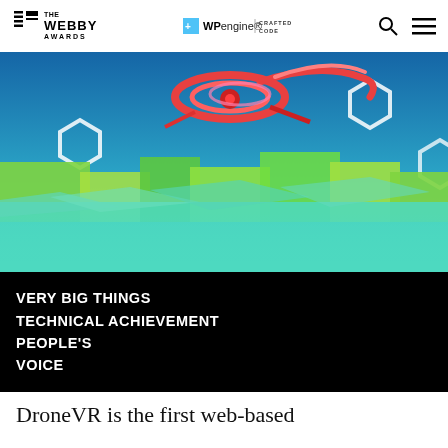THE WEBBY AWARDS | WP engine | CRAFTED CODE
[Figure (photo): 3D rendered scene with a drone/robot with red accents flying above a green low-poly terrain, blue sky background with white hexagonal shapes]
VERY BIG THINGS
TECHNICAL ACHIEVEMENT
PEOPLE'S VOICE
DroneVR is the first web-based